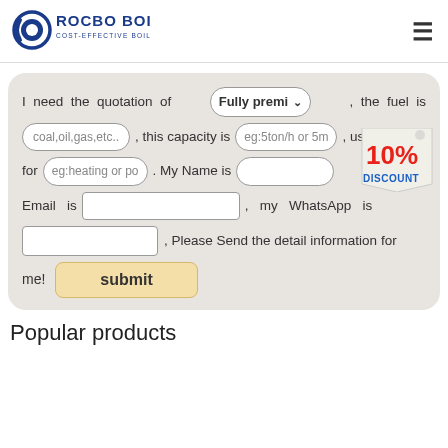[Figure (logo): Rocbo Boiler logo with tagline 'COST-EFFECTIVE BOILER SUPPLIER']
I need the quotation of [Fully premi ▾] , the fuel is [coal,oil,gas,etc..] , this capacity is [eg:5ton/h or 5m] , use for [eg:heating or po] . My Name is [ ] Email is [ ] , my WhatsApp is [ ] , Please Send the detail information for me!
[Figure (infographic): 10% DISCOUNT badge]
submit
Popular products